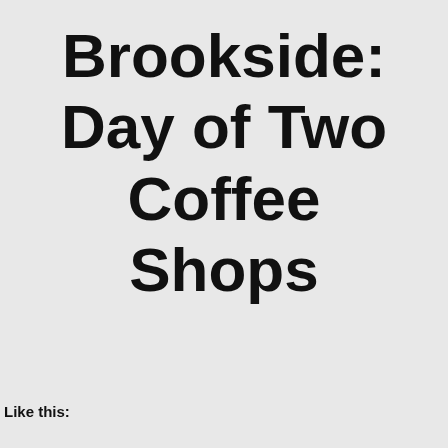Brookside: Day of Two Coffee Shops
Like this: